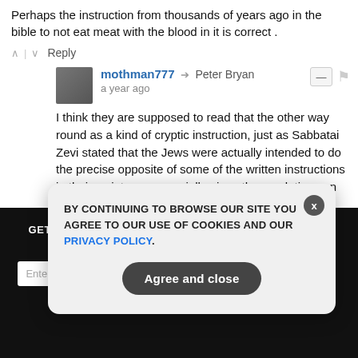Perhaps the instruction from thousands of years ago in the bible to not eat meat with the blood in it is correct .
mothman777 → Peter Bryan  a year ago
I think they are supposed to read that the other way round as a kind of cryptic instruction, just as Sabbatai Zevi stated that the Jews were actually intended to do the precise opposite of some of the written instructions in their scriptures, especially given the revelations on the Oprah Winfrey Show about
GET THE WORLD'S BEST NATURAL HEALTH NEWSLETTER DELIVERED STRAIGHT TO YOUR INBOX
BY CONTINUING TO BROWSE OUR SITE YOU AGREE TO OUR USE OF COOKIES AND OUR PRIVACY POLICY.
Agree and close